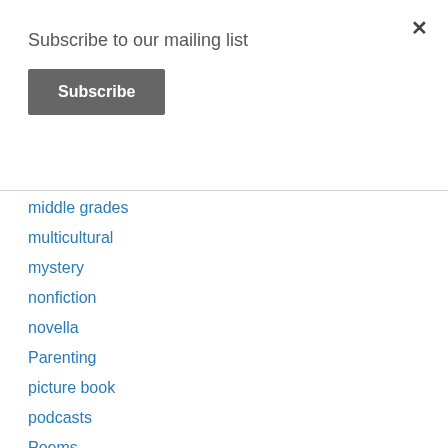Subscribe to our mailing list
Subscribe
×
middle grades
multicultural
mystery
nonfiction
novella
Parenting
picture book
podcasts
Poems
preschool
read aloud
reference book
reluctant reader
rhyming stories